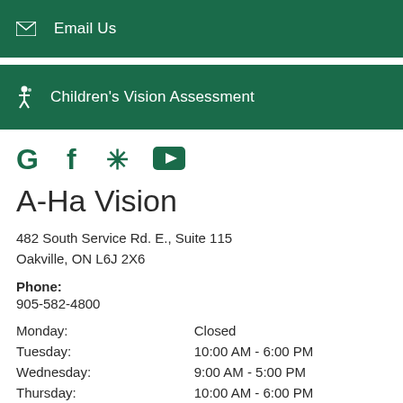Email Us
Children's Vision Assessment
[Figure (other): Social media icons: Google, Facebook, Yelp, YouTube]
A-Ha Vision
482 South Service Rd. E., Suite 115
Oakville, ON L6J 2X6
Phone:
905-582-4800
| Day | Hours |
| --- | --- |
| Monday: | Closed |
| Tuesday: | 10:00 AM - 6:00 PM |
| Wednesday: | 9:00 AM - 5:00 PM |
| Thursday: | 10:00 AM - 6:00 PM |
| Friday: | 9:00 AM - 5:00 PM |
| Saturday: | Closed |
| Sunday: | Closed |